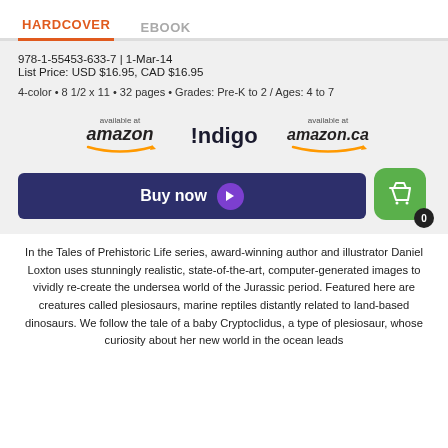HARDCOVER   EBOOK
978-1-55453-633-7 | 1-Mar-14
List Price: USD $16.95, CAD $16.95
4-color • 8 1/2 x 11 • 32 pages • Grades: Pre-K to 2 / Ages: 4 to 7
[Figure (logo): Available at Amazon, Indigo, and Amazon.ca retailer logos]
[Figure (screenshot): Buy now button with purple arrow, and green basket icon with badge showing 0]
In the Tales of Prehistoric Life series, award-winning author and illustrator Daniel Loxton uses stunningly realistic, state-of-the-art, computer-generated images to vividly re-create the undersea world of the Jurassic period. Featured here are creatures called plesiosaurs, marine reptiles distantly related to land-based dinosaurs. We follow the tale of a baby Cryptoclidus, a type of plesiosaur, whose curiosity about her new world in the ocean leads